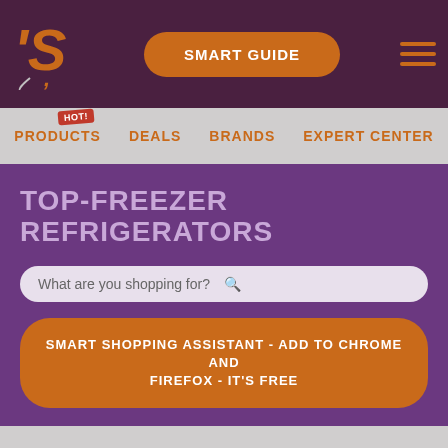[Figure (logo): Website header with 'S' logo, SMART GUIDE orange button, and hamburger menu on dark purple background]
PRODUCTS  DEALS  BRANDS  EXPERT CENTER
TOP-FREEZER REFRIGERATORS
What are you shopping for?
SMART SHOPPING ASSISTANT - ADD TO CHROME AND FIREFOX - IT'S FREE
This site uses cookies to enhance your web site experience. By continuing to browse or use this site, you are agreeing to our use of cookies. See our privacy policy here.